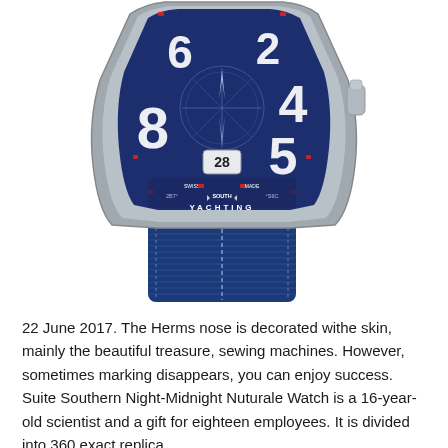[Figure (photo): A Franck Muller Vanguard Yachting watch with blue dial featuring large white numerals (8, 6, 2, 4, 5), a compass rose design, 'YACHTING' text at the bottom, date window showing 28, Swiss Made inscription, and a blue NATO-style nylon strap. The watch case is steel/titanium colored.]
22 June 2017. The Herms nose is decorated withe skin, mainly the beautiful treasure, sewing machines. However, sometimes marking disappears, you can enjoy success. Suite Southern Night-Midnight Nuturale Watch is a 16-year-old scientist and a gift for eighteen employees. It is divided into 360 exact replica